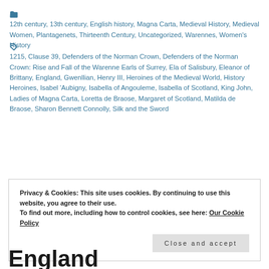12th century, 13th century, English history, Magna Carta, Medieval History, Medieval Women, Plantagenets, Thirteenth Century, Uncategorized, Warennes, Women's History
1215, Clause 39, Defenders of the Norman Crown, Defenders of the Norman Crown: Rise and Fall of the Warenne Earls of Surrey, Ela of Salisbury, Eleanor of Brittany, England, Gwenllian, Henry III, Heroines of the Medieval World, History Heroines, Isabel 'Aubigny, Isabella of Angouleme, Isabella of Scotland, King John, Ladies of Magna Carta, Loretta de Braose, Margaret of Scotland, Matilda de Braose, Sharon Bennett Connolly, Silk and the Sword
Privacy & Cookies: This site uses cookies. By continuing to use this website, you agree to their use. To find out more, including how to control cookies, see here: Our Cookie Policy
Close and accept
England